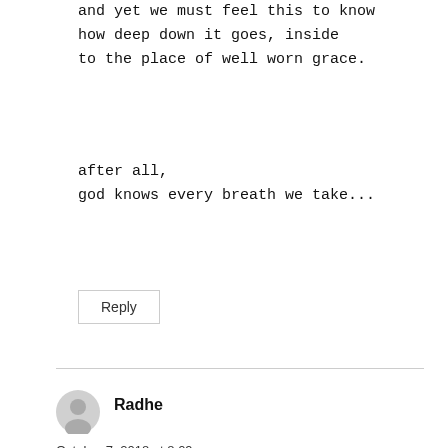and yet we must feel this to know
how deep down it goes, inside
to the place of well worn grace.
after all,
god knows every breath we take...
Reply
Radhe
October 7, 2018 at 8:09 pm